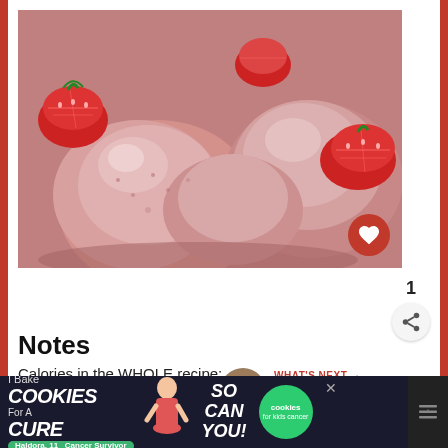[Figure (photo): Close-up photo of pink strawberry sorbet/ice cream scoops with fresh sliced strawberries around them on a plate]
Notes
Calories in the WHOLE recipe:
Calories: 692
Fat: 4g
WHAT'S NEXT → Peanut Butter Hot Chocola...
[Figure (photo): Thumbnail of Peanut Butter Hot Chocolate recipe]
[Figure (infographic): Ad banner: I Bake COOKIES For A CURE - So can you! - cookies for kids cancer]